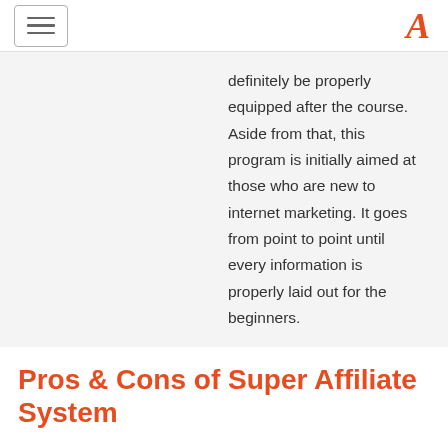[hamburger menu] [A logo]
definitely be properly equipped after the course. Aside from that, this program is initially aimed at those who are new to internet marketing. It goes from point to point until every information is properly laid out for the beginners.
Pros & Cons of Super Affiliate System